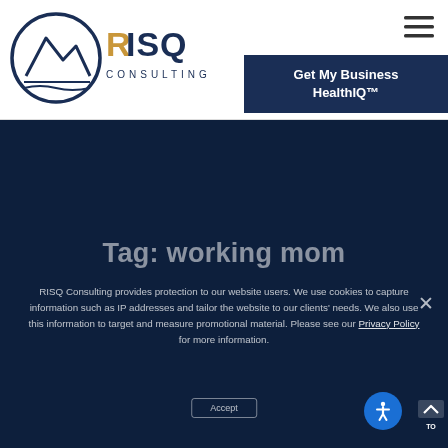[Figure (logo): RISQ Consulting logo — circular mountain/wave emblem in navy blue, with 'RISQ' text in navy and gold, and 'CONSULTING' in small navy capitals below]
Get My Business HealthIQ™
[Figure (other): Hamburger menu icon (three horizontal lines) in top right corner]
[Figure (other): Dark navy blue hero/banner background section]
Tag: working mom
RISQ Consulting provides protection to our website users. We use cookies to capture information such as IP addresses and tailor the website to our clients' needs. We also use this information to target and measure promotional material. Please see our Privacy Policy for more information.
Accept